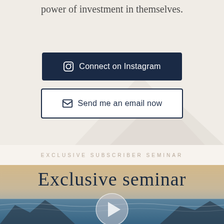power of investment in themselves.
[Figure (illustration): Dark navy button with Instagram icon and text 'Connect on Instagram']
[Figure (illustration): White outlined button with envelope icon and text 'Send me an email now']
EXCLUSIVE SUBSCRIBER SEMINAR
[Figure (photo): Ocean/seascape photo with mountains, warm sunset tones, overlaid with cursive text 'Exclusive seminar' and a circular play button]